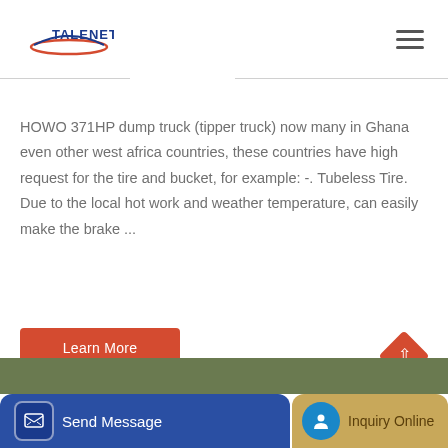[Figure (logo): Talenet logo with red/blue swoosh design and TALENET text]
HOWO 371HP dump truck (tipper truck) now many in Ghana even other west africa countries, these countries have high request for the tire and bucket, for example: -. Tubeless Tire. Due to the local hot work and weather temperature, can easily make the brake ...
Learn More
Send Message
Inquiry Online